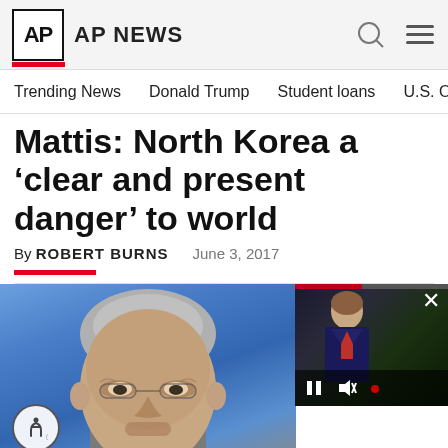AP NEWS
Trending News   Donald Trump   Student loans   U.S. Open Tenn
Mattis: North Korea a ‘clear and present danger’ to world
By ROBERT BURNS   June 3, 2017
[Figure (photo): Close-up photo of a man with gray hair against a blue background, partially cropped. An accessibility button is visible in the lower left corner. A video overlay appears in the upper right showing a figure in a suit with video playback controls.]